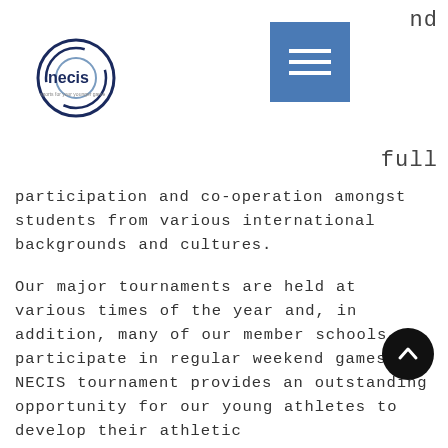[Figure (logo): NECIS organization logo with circular swirl graphic and text 'necis']
[Figure (other): Blue hamburger menu button with three white horizontal lines]
nd
full
participation and co-operation amongst students from various international backgrounds and cultures.
Our major tournaments are held at various times of the year and, in addition, many of our member schools participate in regular weekend games. A NECIS tournament provides an outstanding opportunity for our young athletes to develop their athletic